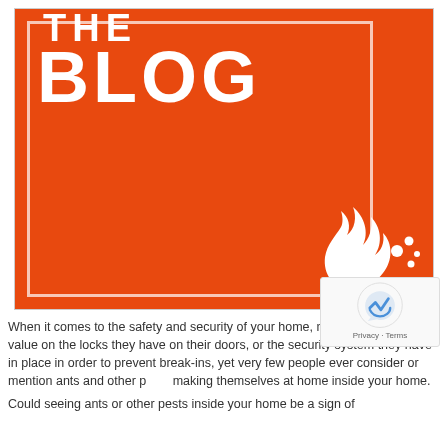[Figure (illustration): Orange blog banner image with white inner border outline, large white bold text reading 'THE BLOG', and a white flame/droplet icon in the lower right corner]
When it comes to the safety and security of your home, many people place value on the locks they have on their doors, or the security system they have in place in order to prevent break-ins, yet very few people ever consider or mention ants and other pests making themselves at home inside your home.
Could seeing ants or other pests inside your home be a sign of